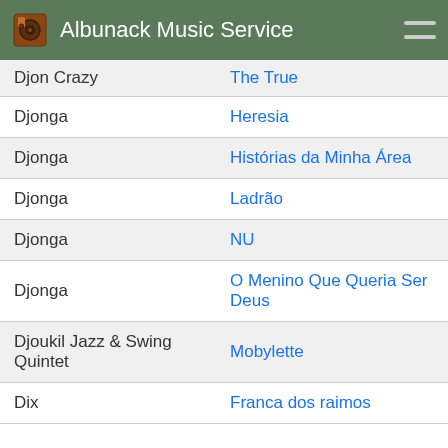Albunack Music Service
| Artist | Album |
| --- | --- |
| Djon Crazy | The True |
| Djonga | Heresia |
| Djonga | Histórias da Minha Área |
| Djonga | Ladrão |
| Djonga | NU |
| Djonga | O Menino Que Queria Ser Deus |
| Djoukil Jazz & Swing Quintet | Mobylette |
| Dix | Franca dos raimos |